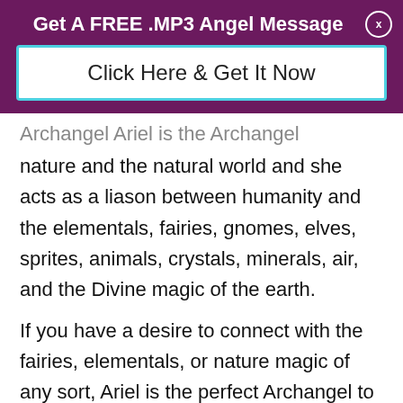Get A FREE .MP3 Angel Message
Click Here & Get It Now
Archangel Ariel is the Archangel overseeing nature and the natural world and she acts as a liason between humanity and the elementals, fairies, gnomes, elves, sprites, animals, crystals, minerals, air, and the Divine magic of the earth.
If you have a desire to connect with the fairies, elementals, or nature magic of any sort, Ariel is the perfect Archangel to call upon to help you safely and effectively tune in